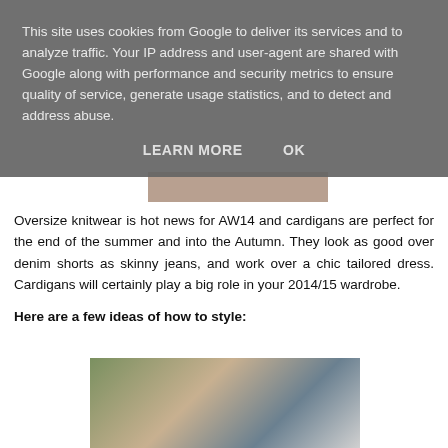This site uses cookies from Google to deliver its services and to analyze traffic. Your IP address and user-agent are shared with Google along with performance and security metrics to ensure quality of service, generate usage statistics, and to detect and address abuse.
LEARN MORE    OK
[Figure (photo): Partial photo strip visible behind cookie overlay]
Oversize knitwear is hot news for AW14 and cardigans are perfect for the end of the summer and into the Autumn. They look as good over denim shorts as skinny jeans, and work over a chic tailored dress. Cardigans will certainly play a big role in your 2014/15 wardrobe.
Here are a few ideas of how to style:
[Figure (photo): Woman wearing dark knit cardigan, blonde hair, outdoor background with green trees]